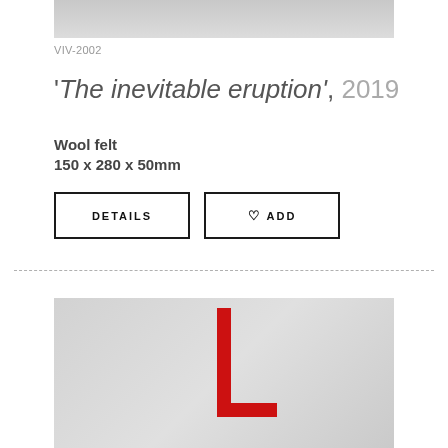[Figure (photo): Top portion of a product photo showing a light gray background, cropped at top]
VIV-2002
'The inevitable eruption', 2019
Wool felt
150 x 280 x 50mm
[Figure (other): DETAILS and ADD buttons with heart icon]
[Figure (photo): Photo of a red angular sculpture shaped like a letter L or cross, on a light gray background]